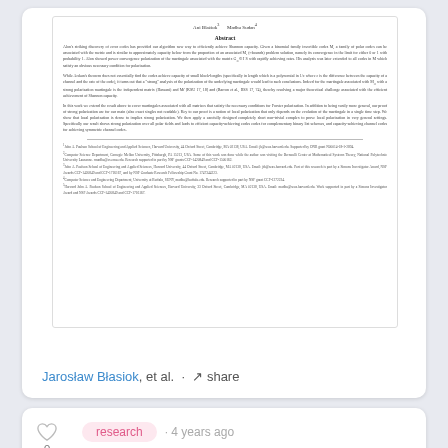[Figure (other): Thumbnail preview of a scientific paper showing authors, abstract, body text, and footnotes in a white card.]
Jarosław Błasiok, et al. · share
research · 4 years ago
On the List-Decodability of Random Linear Rank-Metric Codes